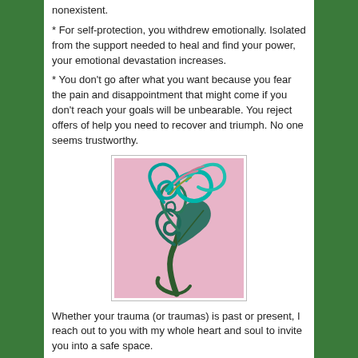nonexistent.
* For self-protection, you withdrew emotionally. Isolated from the support needed to heal and find your power, your emotional devastation increases.
* You don't go after what you want because you fear the pain and disappointment that might come if you don't reach your goals will be unbearable. You reject offers of help you need to recover and triumph. No one seems trustworthy.
[Figure (illustration): A stylized painting of a swirling tree or flower with teal/green curling forms and leaves on a pink background, framed with a thin border.]
Whether your trauma (or traumas) is past or present, I reach out to you with my whole heart and soul to invite you into a safe space.